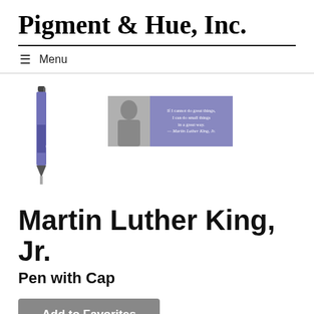Pigment & Hue, Inc.
≡  Menu
[Figure (photo): Product image: a purple marker/pen with cap, shown vertically]
[Figure (photo): Product image: composite of a black-and-white photo of Martin Luther King Jr. next to a purple quote card with text about doing small things in a great way]
Martin Luther King, Jr.
Pen with Cap
Add to Favorites